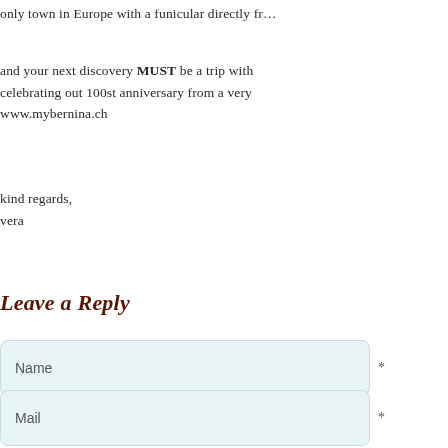only town in Europe with a funicular directly fr…
and your next discovery MUST be a trip with celebrating out 100st anniversary from a very www.mybernina.ch
kind regards,
vera
Leave a Reply
Name *
Mail *
Website
Comment...